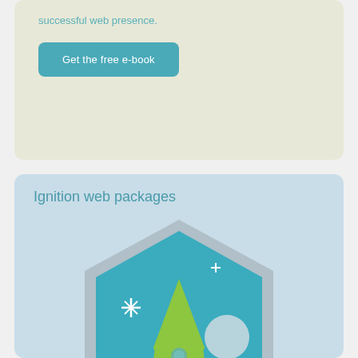successful web presence.
Get the free e-book
Ignition web packages
[Figure (illustration): A green rocket launching from a ground hill inside a hexagon shape on a teal/blue background, with stars and a moon, representing web ignition packages.]